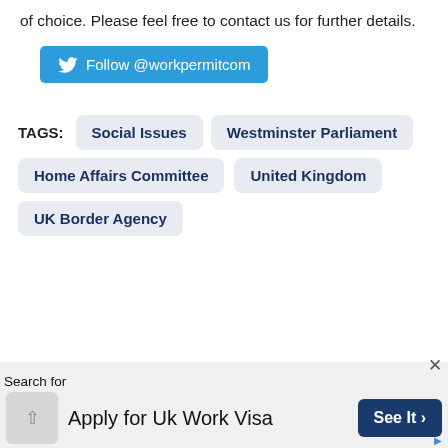of choice. Please feel free to contact us for further details.
Follow @workpermitcom
TAGS: Social Issues   Westminster Parliament   Home Affairs Committee   United Kingdom   UK Border Agency
Search for
Apply for Uk Work Visa
See It >